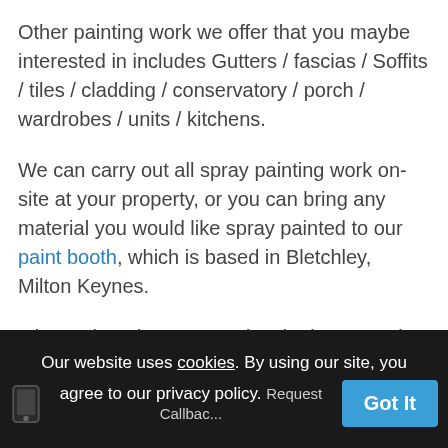Other painting work we offer that you maybe interested in includes Gutters / fascias / Soffits / tiles / cladding / conservatory / porch / wardrobes / units / kitchens.
We can carry out all spray painting work on-site at your property, or you can bring any material you would like spray painted to our paint booth, which is based in Bletchley, Milton Keynes.
It is worth noting we are also the largest paint makers of custom paint Aerosols in the UK, so if you would like to take on a project your self you can find all of the paint and equipment required here.
Our website uses cookies. By using our site, you agree to our privacy policy. Got It